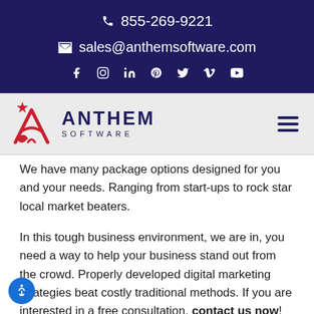855-269-9221 | sales@anthemsoftware.com
[Figure (logo): Anthem Software logo with stylized A and star, plus hamburger menu icon]
We have many package options designed for you and your needs. Ranging from start-ups to rock star local market beaters.
In this tough business environment, we are in, you need a way to help your business stand out from the crowd. Properly developed digital marketing strategies beat costly traditional methods. If you are interested in a free consultation, contact us now! We